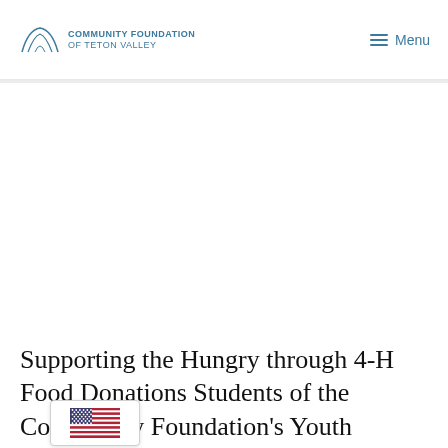Community Foundation of Teton Valley | Menu
Supporting the Hungry through 4-H Food Donations Students of the Community Foundation's Youth Philanthropy program awarded